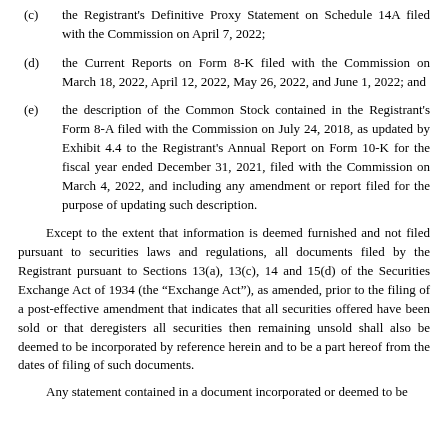(c) the Registrant's Definitive Proxy Statement on Schedule 14A filed with the Commission on April 7, 2022;
(d) the Current Reports on Form 8-K filed with the Commission on March 18, 2022, April 12, 2022, May 26, 2022, and June 1, 2022; and
(e) the description of the Common Stock contained in the Registrant's Form 8-A filed with the Commission on July 24, 2018, as updated by Exhibit 4.4 to the Registrant's Annual Report on Form 10-K for the fiscal year ended December 31, 2021, filed with the Commission on March 4, 2022, and including any amendment or report filed for the purpose of updating such description.
Except to the extent that information is deemed furnished and not filed pursuant to securities laws and regulations, all documents filed by the Registrant pursuant to Sections 13(a), 13(c), 14 and 15(d) of the Securities Exchange Act of 1934 (the “Exchange Act”), as amended, prior to the filing of a post-effective amendment that indicates that all securities offered have been sold or that deregisters all securities then remaining unsold shall also be deemed to be incorporated by reference herein and to be a part hereof from the dates of filing of such documents.
Any statement contained in a document incorporated or deemed to be